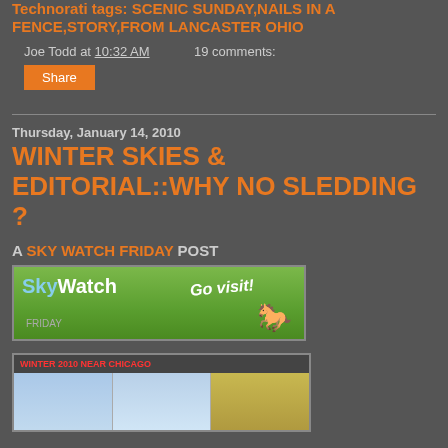Technorati tags: SCENIC SUNDAY,NAILS IN A FENCE,STORY,FROM LANCASTER OHIO
Joe Todd at 10:32 AM    19 comments:
Share
Thursday, January 14, 2010
WINTER SKIES & EDITORIAL::WHY NO SLEDDING ?
A SKY WATCH FRIDAY POST
[Figure (photo): SkyWatch Friday banner image showing green field with 'Sky Watch' logo and 'Go visit!' text with a horse silhouette]
[Figure (photo): Winter 2010 Near Chicago photo collage showing three panels of winter sky scenes]